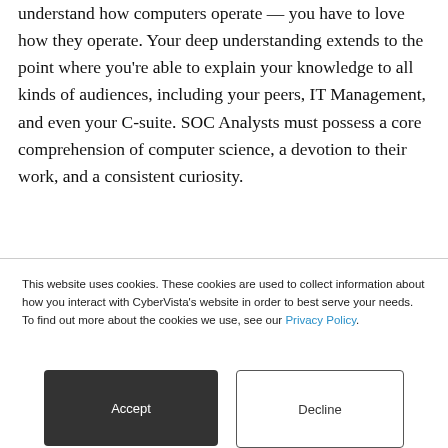understand how computers operate — you have to love how they operate. Your deep understanding extends to the point where you're able to explain your knowledge to all kinds of audiences, including your peers, IT Management, and even your C-suite. SOC Analysts must possess a core comprehension of computer science, a devotion to their work, and a consistent curiosity.
This website uses cookies. These cookies are used to collect information about how you interact with CyberVista's website in order to best serve your needs. To find out more about the cookies we use, see our Privacy Policy.
Accept
Decline